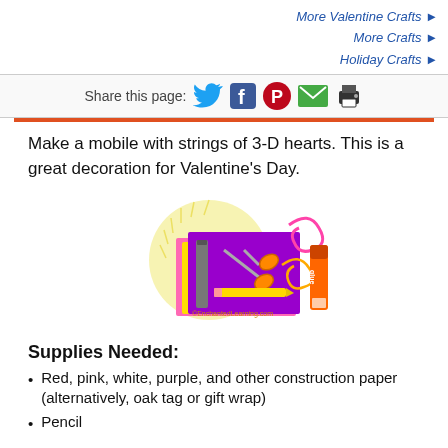More Valentine Crafts ► More Crafts ► Holiday Crafts ►
Share this page:
Make a mobile with strings of 3-D hearts. This is a great decoration for Valentine's Day.
[Figure (illustration): Craft supplies illustration showing scissors, pencil, construction paper, glue stick on a purple background with decorative swirls. Watermark reads ©EnchantedLearning.com]
Supplies Needed:
Red, pink, white, purple, and other construction paper (alternatively, oak tag or gift wrap)
Pencil